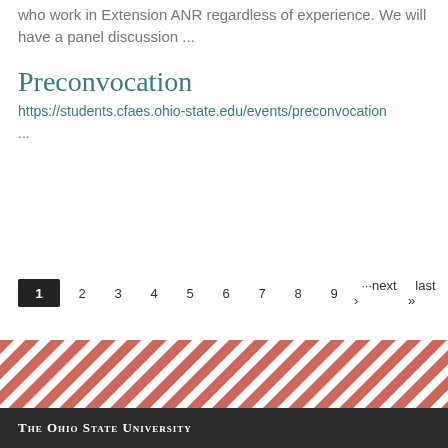who work in Extension ANR regardless of experience. We will have a panel discussion ...
Preconvocation
https://students.cfaes.ohio-state.edu/events/preconvocation
...
1 2 3 4 5 6 7 8 9 ···next › last »
[Figure (illustration): Diagonal red and white stripe decorative bar]
The Ohio State University